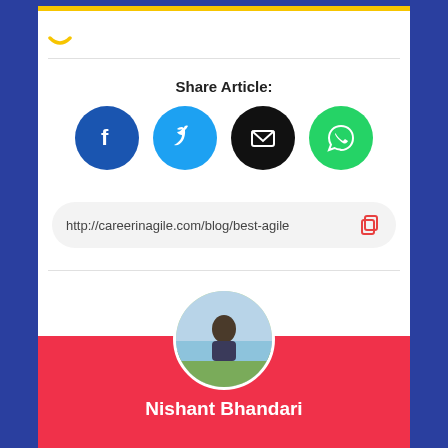Share Article:
[Figure (infographic): Social sharing icons: Facebook (blue circle with f), Twitter (cyan circle with bird), Email (black circle with envelope), WhatsApp (green circle with phone handset)]
http://careerinagile.com/blog/best-agile
[Figure (photo): Circular profile photo of Nishant Bhandari outdoors near water]
Nishant Bhandari